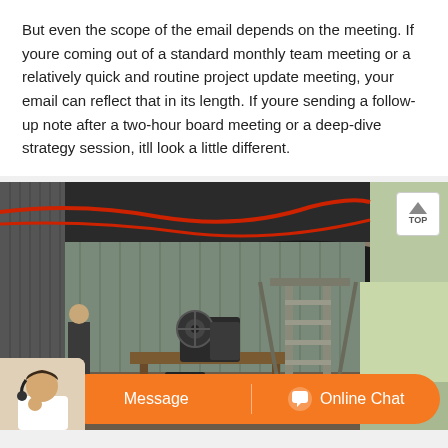But even the scope of the email depends on the meeting. If youre coming out of a standard monthly team meeting or a relatively quick and routine project update meeting, your email can reflect that in its length. If youre sending a follow-up note after a two-hour board meeting or a deep-dive strategy session, itll look a little different.
[Figure (photo): Industrial setting showing machinery (appears to be a jaw crusher or similar equipment) on a wooden workbench inside a warehouse with a black tarpaulin covering, metal scaffolding stairs on the right, and a red rope visible near the ceiling.]